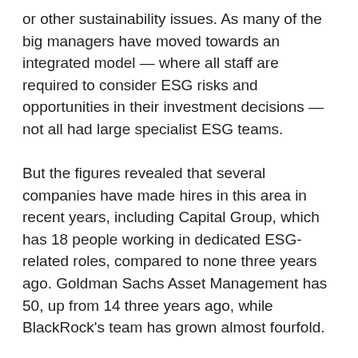or other sustainability issues. As many of the big managers have moved towards an integrated model — where all staff are required to consider ESG risks and opportunities in their investment decisions — not all had large specialist ESG teams.
But the figures revealed that several companies have made hires in this area in recent years, including Capital Group, which has 18 people working in dedicated ESG-related roles, compared to none three years ago. Goldman Sachs Asset Management has 50, up from 14 three years ago, while BlackRock's team has grown almost fourfold.
BlackRock chief Larry Fink this year outlined plans to put ESG at the centre of the company's investment process. Barbara Novick, BlackRock vice-chair and head of stewardship, announced last month she was stepping down after more than 30 years with the New York based group. "Our public policy and stewardship